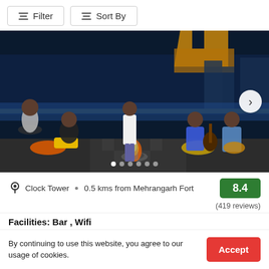Filter   Sort By
[Figure (photo): Group of friends enjoying a rooftop gathering at night with a fire pit, city lights and a fort visible in the background. Two women sit on the left, a woman stands in the center, and two men play guitar and drum on the right.]
Clock Tower • 0.5 kms from Mehrangarh Fort   8.4   (419 reviews)
Facilities: Bar , Wifi
By continuing to use this website, you agree to our usage of cookies.   Accept